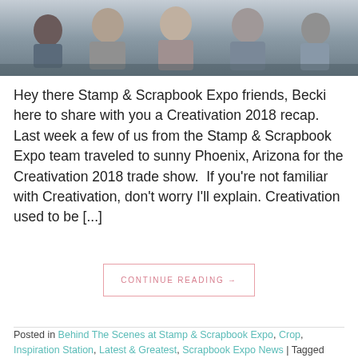[Figure (photo): Group of people sitting together at a trade show event, partially cropped at top of page]
Hey there Stamp & Scrapbook Expo friends, Becki here to share with you a Creativation 2018 recap. Last week a few of us from the Stamp & Scrapbook Expo team traveled to sunny Phoenix, Arizona for the Creativation 2018 trade show. If you're not familiar with Creativation, don't worry I'll explain. Creativation used to be [...]
CONTINUE READING →
Posted in Behind The Scenes at Stamp & Scrapbook Expo, Crop, Inspiration Station, Latest & Greatest, Scrapbook Expo News | Tagged Becki Adams, Creativation, Inspiration Station with Becki Adams, Stamp & Scrapbook Expo,